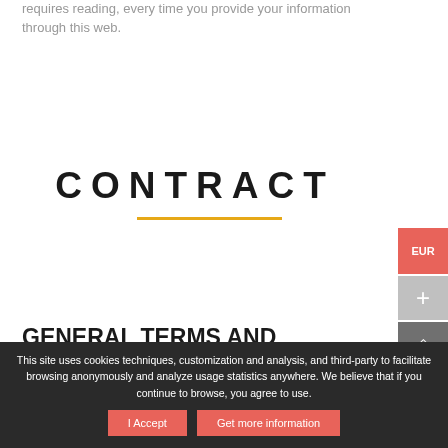requires reading, every time you provide your information through this web.
CONTRACT
GENERAL TERMS AND CONDITIONS
This site uses cookies techniques, customization and analysis, and third-party to facilitate browsing anonymously and analyze usage statistics anywhere. We believe that if you continue to browse, you agree to use.
I Accept
Get more information